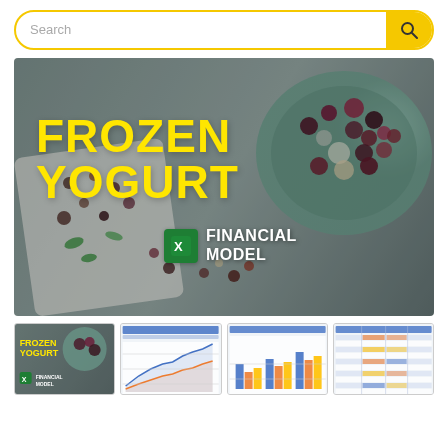[Figure (screenshot): Search bar with yellow border and yellow search button with magnifying glass icon]
[Figure (photo): Hero banner showing frozen yogurt toppings and berries in a bowl, with large yellow text 'FROZEN YOGURT' and 'FINANCIAL MODEL' with Excel icon]
[Figure (photo): Thumbnail 1: Frozen yogurt promotional image with yellow text]
[Figure (screenshot): Thumbnail 2: Financial chart/graph screenshot]
[Figure (screenshot): Thumbnail 3: Financial bar chart screenshot]
[Figure (screenshot): Thumbnail 4: Financial spreadsheet/table screenshot]